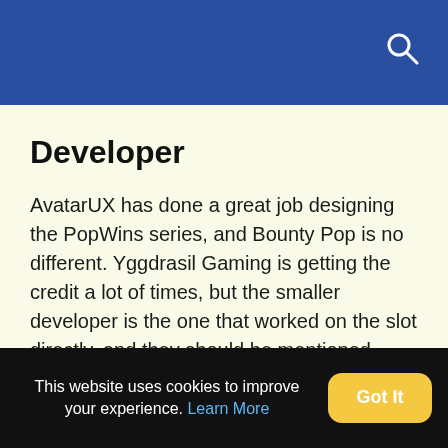Developer
AvatarUX has done a great job designing the PopWins series, and Bounty Pop is no different. Yggdrasil Gaming is getting the credit a lot of times, but the smaller developer is the one that worked on the slot directly, and they should be mentioned.
PLAY HERE
This website uses cookies to improve your experience. Learn More  Got It